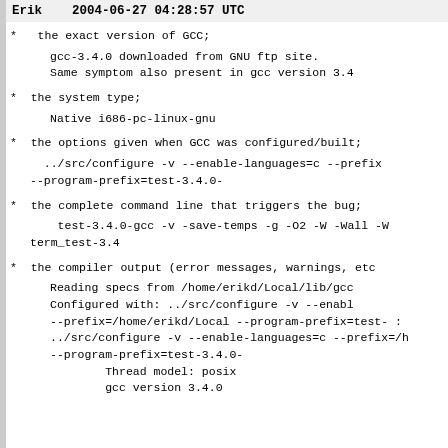Erik   2004-06-27 04:28:57 UTC
*  the exact version of GCC;
gcc-3.4.0 downloaded from GNU ftp site.
Same symptom also present in gcc version 3.4
*  the system type;
Native i686-pc-linux-gnu
*  the options given when GCC was configured/built;
../src/configure -v --enable-languages=c --prefix
--program-prefix=test-3.4.0-
*  the complete command line that triggers the bug;
test-3.4.0-gcc -v -save-temps -g -O2 -W -Wall -W
term_test-3.4
*  the compiler output (error messages, warnings, etc
Reading specs from /home/erikd/Local/lib/gcc
Configured with: ../src/configure -v --enabl
--prefix=/home/erikd/Local --program-prefix=test- :
../src/configure -v --enable-languages=c --prefix=/h
--program-prefix=test-3.4.0-
        Thread model: posix
        gcc version 3.4.0